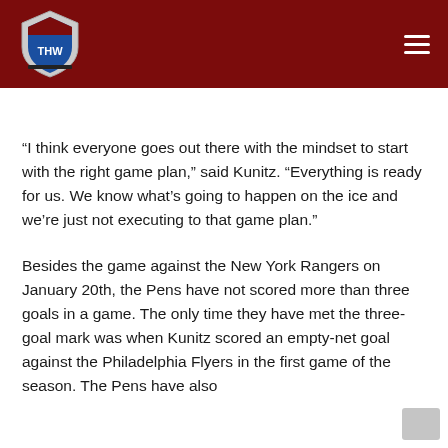THW (The Hockey Writers) - navigation header with logo and hamburger menu
“I think everyone goes out there with the mindset to start with the right game plan,” said Kunitz. “Everything is ready for us. We know what’s going to happen on the ice and we’re just not executing to that game plan.”
Besides the game against the New York Rangers on January 20th, the Pens have not scored more than three goals in a game. The only time they have met the three-goal mark was when Kunitz scored an empty-net goal against the Philadelphia Flyers in the first game of the season. The Pens have also…